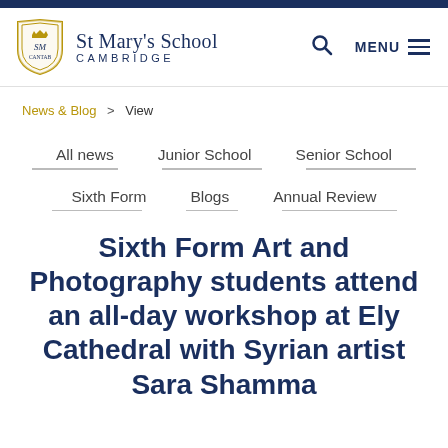[Figure (logo): St Mary's School Cambridge logo with shield/crest and school name]
St Mary's School CAMBRIDGE | MENU
News & Blog > View
All news | Junior School | Senior School | Sixth Form | Blogs | Annual Review
Sixth Form Art and Photography students attend an all-day workshop at Ely Cathedral with Syrian artist Sara Shamma